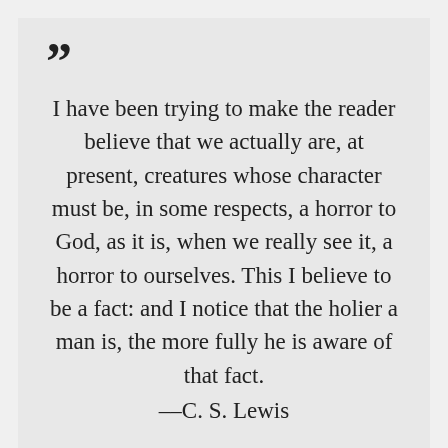” I have been trying to make the reader believe that we actually are, at present, creatures whose character must be, in some respects, a horror to God, as it is, when we really see it, a horror to ourselves. This I believe to be a fact: and I notice that the holier a man is, the more fully he is aware of that fact. ––C. S. Lewis
Share this quote...